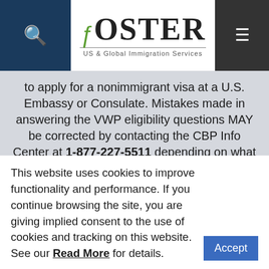Foster US & Global Immigration Services
to apply for a nonimmigrant visa at a U.S. Embassy or Consulate. Mistakes made in answering the VWP eligibility questions MAY be corrected by contacting the CBP Info Center at 1-877-227-5511 depending on what question the mistake was made. In addition, reapplying with false information for the purposes of qualifying for an ESTA could make the traveler permanently
This website uses cookies to improve functionality and performance. If you continue browsing the site, you are giving implied consent to the use of cookies and tracking on this website. See our Read More for details.